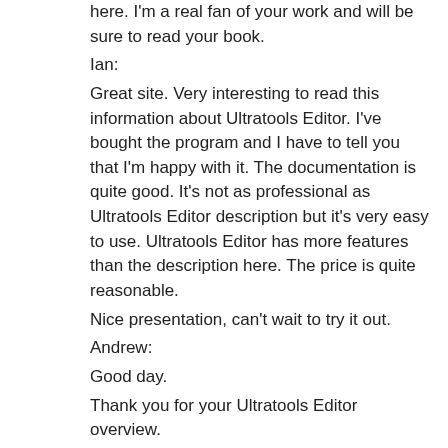here. I'm a real fan of your work and will be sure to read your book.
Ian:
Great site. Very interesting to read this information about Ultratools Editor. I've bought the program and I have to tell you that I'm happy with it. The documentation is quite good. It's not as professional as Ultratools Editor description but it's very easy to use. Ultratools Editor has more features than the description here. The price is quite reasonable.
Nice presentation, can't wait to try it out.
Andrew:
Good day.
Thank you for your Ultratools Editor overview.
It's really useful for me.
I'll be using Ultratools Editor in order to make a new kind of music.
d408ce498b
-------------------------